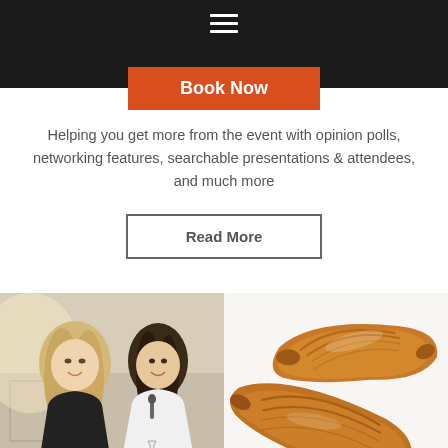[Figure (screenshot): Dark header navigation bar with hamburger menu icon and orange 'Book Now' button]
Helping you get more from the event with opinion polls, networking features, searchable presentations & attendees, and much more
Read More
[Figure (photo): Two women smiling at an event, one blonde in black top, one in white shirt with microphone]
[Figure (photo): Close-up photo of golden croissants on white background]